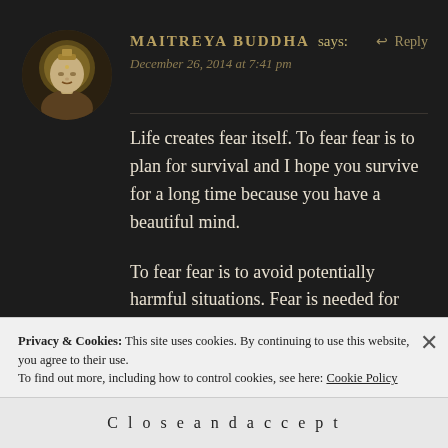[Figure (illustration): Circular avatar image of a Buddha statue with golden halo, set against a dark background]
MAITREYA BUDDHA says: ↩ Reply
December 26, 2014 at 7:41 pm
Life creates fear itself. To fear fear is to plan for survival and I hope you survive for a long time because you have a beautiful mind.
To fear fear is to avoid potentially harmful situations. Fear is needed for survival. However courage is needed too in order to survive. We must have the
Privacy & Cookies: This site uses cookies. By continuing to use this website, you agree to their use.
To find out more, including how to control cookies, see here: Cookie Policy
Close and accept